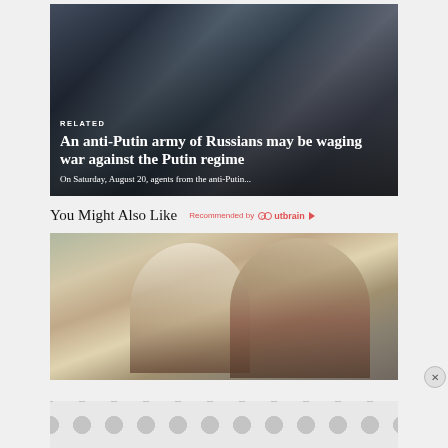[Figure (photo): Protest crowd scene with Russian flags, people raising arms, outdoor setting with trees]
RELATED
An anti-Putin army of Russians may be waging war against the Putin regime
On Saturday, August 20, agents from the anti-Putin...
You Might Also Like
Recommended by Outbrain
[Figure (photo): Two women working, one with headset, office environment]
[Figure (other): Advertisement banner with repeating circular pattern]